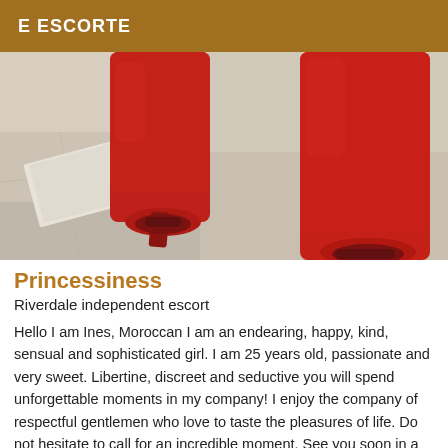E ESCORTE
[Figure (photo): Close-up photo of a person's legs wearing red suede open-toe ankle boots with a heel, standing on a marble floor. The image is cropped to show only the lower legs and feet.]
Princessiness
Riverdale independent escort
Hello I am Ines, Moroccan I am an endearing, happy, kind, sensual and sophisticated girl. I am 25 years old, passionate and very sweet. Libertine, discreet and seductive you will spend unforgettable moments in my company! I enjoy the company of respectful gentlemen who love to taste the pleasures of life. Do not hesitate to call for an incredible moment. See you soon in a private